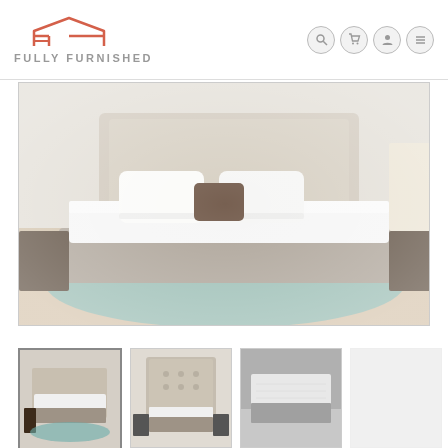FULLY FURNISHED
[Figure (photo): Blurred bedroom scene showing a white mattress on a bed frame with upholstered headboard, teal rug, and warm wood floor. Product photo for a mattress or bed.]
[Figure (photo): Thumbnail 1: bedroom with mattress and headboard, same scene as main image]
[Figure (photo): Thumbnail 2: bedroom with tufted headboard and nightstands]
[Figure (photo): Thumbnail 3: close-up of mattress fabric/surface in grayscale]